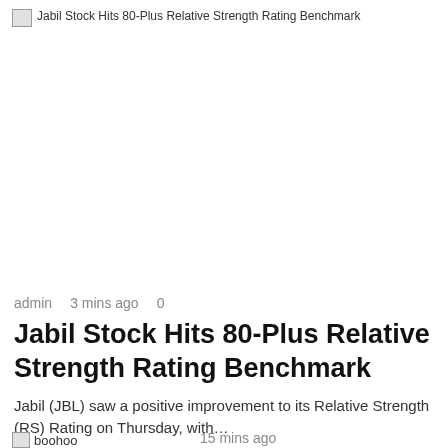[Figure (photo): Broken image placeholder with alt text: Jabil Stock Hits 80-Plus Relative Strength Rating Benchmark]
Investment
admin   3 mins ago   0
Jabil Stock Hits 80-Plus Relative Strength Rating Benchmark
Jabil (JBL) saw a positive improvement to its Relative Strength (RS) Rating on Thursday, with…
Read More »
[Figure (photo): Broken image placeholder with alt text: boohoo]
15 mins ago